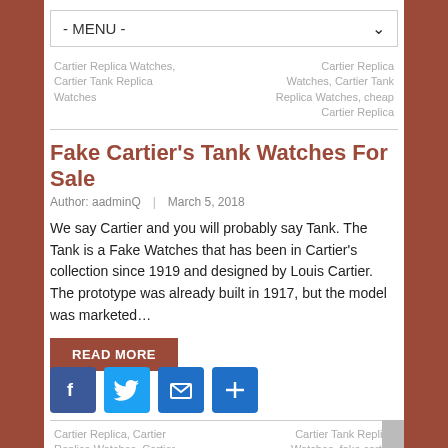- MENU -
Cartier Replica Watches, Cartier Tank Replica Watches
Cartier Replica Watches, Cartier Tank Replica Watches, cheap Cartier Replica
Fake Cartier's Tank Watches For Sale
Author: aadminQ  |  March 5, 2018
We say Cartier and you will probably say Tank. The Tank is a Fake Watches that has been in Cartier's collection since 1919 and designed by Louis Cartier. The prototype was already built in 1917, but the model was marketed…
READ MORE
[Figure (infographic): Social share buttons: Facebook, Twitter, Email, Share (plus icon)]
Cartier Replica, Cartier Replica Watches, Cartier Replica Watches China, Cartier Tank Replica
Cartier Tank Replica Watches, fake cartier